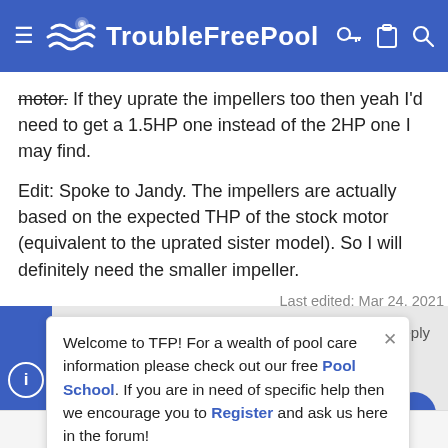TroubleFreePool
motor. If they uprate the impellers too then yeah I'd need to get a 1.5HP one instead of the 2HP one I may find.
Edit: Spoke to Jandy. The impellers are actually based on the expected THP of the stock motor (equivalent to the uprated sister model). So I will definitely need the smaller impeller.
Last edited: Mar 24, 2021
MSchutzer
Welcome to TFP! For a wealth of pool care information please check out our free Pool School. If you are in need of specific help then we encourage you to Register and ask us here in the forum!
Jul 24, 2020   272   San Jose, CA